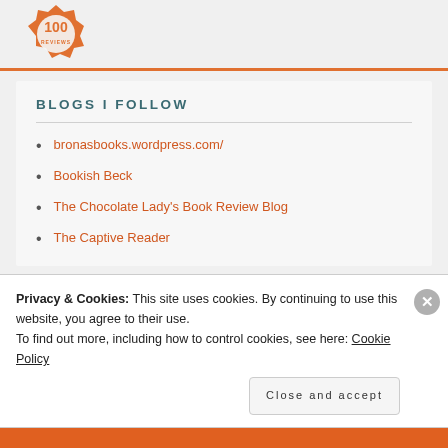[Figure (logo): Orange badge/seal with '100 REVIEWS' text, partially visible at top]
BLOGS I FOLLOW
bronasbooks.wordpress.com/
Bookish Beck
The Chocolate Lady's Book Review Blog
The Captive Reader
Privacy & Cookies: This site uses cookies. By continuing to use this website, you agree to their use.
To find out more, including how to control cookies, see here: Cookie Policy
Close and accept